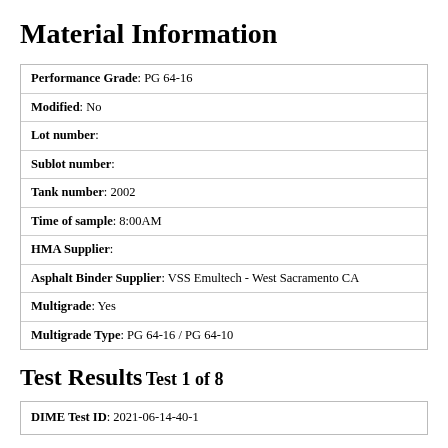Material Information
| Performance Grade: PG 64-16 |
| Modified: No |
| Lot number: |
| Sublot number: |
| Tank number: 2002 |
| Time of sample: 8:00AM |
| HMA Supplier: |
| Asphalt Binder Supplier: VSS Emultech - West Sacramento CA |
| Multigrade: Yes |
| Multigrade Type: PG 64-16 / PG 64-10 |
Test Results
Test 1 of 8
| DIME Test ID: 2021-06-14-40-1 |